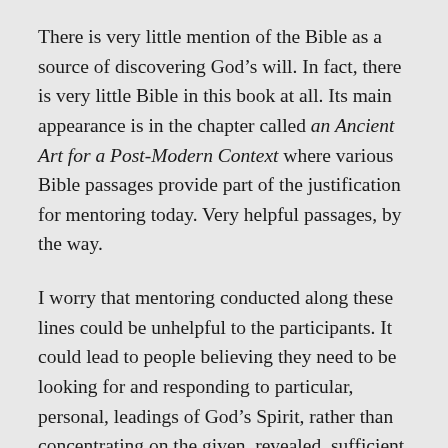There is very little mention of the Bible as a source of discovering God’s will. In fact, there is very little Bible in this book at all. Its main appearance is in the chapter called an Ancient Art for a Post-Modern Context where various Bible passages provide part of the justification for mentoring today. Very helpful passages, by the way.
I worry that mentoring conducted along these lines could be unhelpful to the participants. It could lead to people believing they need to be looking for and responding to particular, personal, leadings of God’s Spirit, rather than concentrating on the given, revealed, sufficient, sword of the Spirit, the Bible. Over